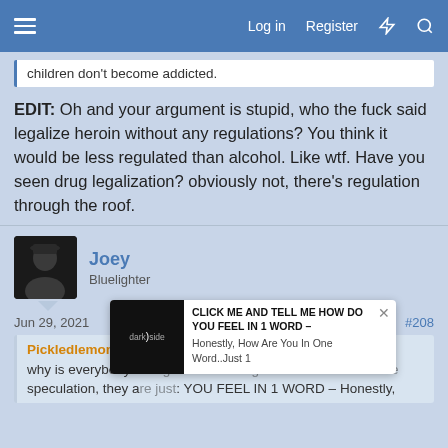Log in  Register
children don't become addicted.
EDIT: Oh and your argument is stupid, who the fuck said legalize heroin without any regulations? You think it would be less regulated than alcohol. Like wtf. Have you seen drug legalization? obviously not, there's regulation through the roof.
Joey
Bluelighter
Jun 29, 2021  #208
Pickledlemons said:
why is everybody tak... out on vending machines like its some speculation, they a... st:
CLICK ME AND TELL ME HOW DO YOU FEEL IN 1 WORD – Honestly, How Are You In One Word..Just 1
Opioid vending machine opens in Vancouver